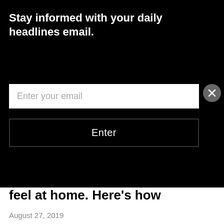Stay informed with your daily headlines email.
Enter your email
Enter
feel at home. Here’s how
August 27, 2019